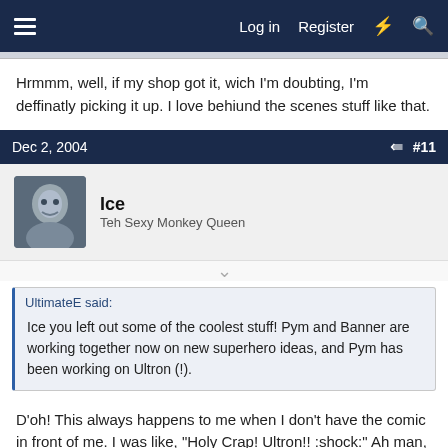Log in  Register
Hrmmm, well, if my shop got it, wich I'm doubting, I'm deffinatly picking it up. I love behiund the scenes stuff like that.
Dec 2, 2004  #11
Ice
Teh Sexy Monkey Queen
UltimateE said:
Ice you left out some of the coolest stuff! Pym and Banner are working together now on new superhero ideas, and Pym has been working on Ultron (!).
D'oh! This always happens to me when I don't have the comic in front of me. I was like, "Holy Crap! Ultron!! :shock:" Ah man, can't wait to see that!